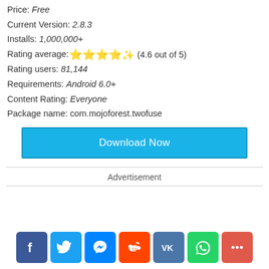Price: Free
Current Version: 2.8.3
Installs: 1,000,000+
Rating average: ★★★★✬ (4.6 out of 5)
Rating users: 81,144
Requirements: Android 6.0+
Content Rating: Everyone
Package name: com.mojoforest.twofuse
Download Now
Advertisement
[Figure (other): Social sharing icons: Facebook, Twitter, Messenger, Reddit, VK, WhatsApp, More]